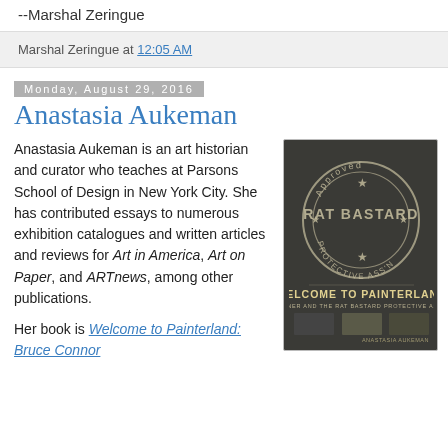--Marshal Zeringue
Marshal Zeringue at 12:05 AM
Monday, August 29, 2016
Anastasia Aukeman
Anastasia Aukeman is an art historian and curator who teaches at Parsons School of Design in New York City. She has contributed essays to numerous exhibition catalogues and written articles and reviews for Art in America, Art on Paper, and ARTnews, among other publications.
Her book is Welcome to Painterland: Bruce Connor...
[Figure (photo): Book cover of 'Welcome to Painterland' featuring a circular stamp reading 'Approved RAT BASTARD PROTECTIVE ASS'N' on a dark background, with three small black-and-white photo thumbnails at the bottom and the author name Anastasia Aukeman]